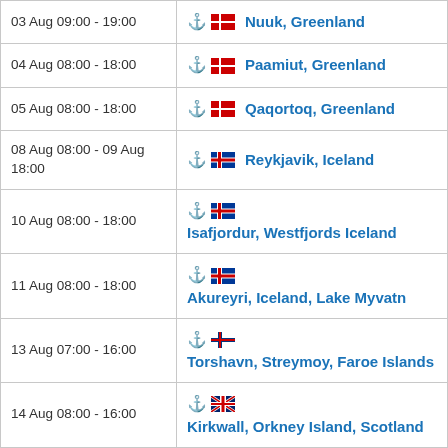| Date/Time | Port |
| --- | --- |
| 03 Aug 09:00 - 19:00 | Nuuk, Greenland |
| 04 Aug 08:00 - 18:00 | Paamiut, Greenland |
| 05 Aug 08:00 - 18:00 | Qaqortoq, Greenland |
| 08 Aug 08:00 - 09 Aug 18:00 | Reykjavik, Iceland |
| 10 Aug 08:00 - 18:00 | Isafjordur, Westfjords Iceland |
| 11 Aug 08:00 - 18:00 | Akureyri, Iceland, Lake Myvatn |
| 13 Aug 07:00 - 16:00 | Torshavn, Streymoy, Faroe Islands |
| 14 Aug 08:00 - 16:00 | Kirkwall, Orkney Island, Scotland |
| 15 Aug 11:00 - 20:00 | Stavanger, Norway |
| 16 Aug 08:00 - 18:00 | Kristiansand, Norway |
| 17 Aug 10:00 - 18 Aug 19:00 | Copenhagen, Denmark |
| 20 Aug 10:00 - 21 Aug 17:00 | Stockholm, Sweden |
| 22 Aug 11:00 - 21:00 | Helsinki, Finland |